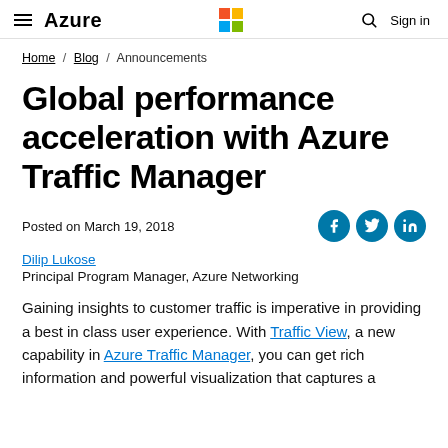Azure | Microsoft logo | Search | Sign in
Home / Blog / Announcements
Global performance acceleration with Azure Traffic Manager
Posted on March 19, 2018
Dilip Lukose
Principal Program Manager, Azure Networking
Gaining insights to customer traffic is imperative in providing a best in class user experience. With Traffic View, a new capability in Azure Traffic Manager, you can get rich information and powerful visualization that captures a